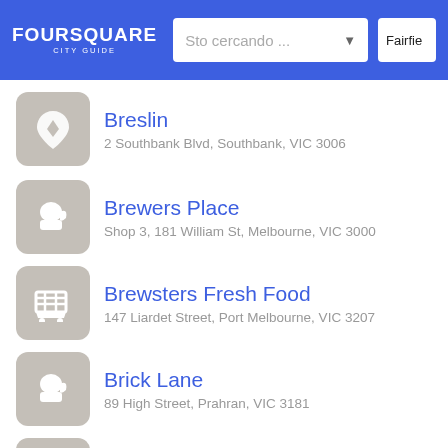FOURSQUARE CITY GUIDE — Sto cercando ... — Fairfie
Breslin
2 Southbank Blvd, Southbank, VIC 3006
Brewers Place
Shop 3, 181 William St, Melbourne, VIC 3000
Brewsters Fresh Food
147 Liardet Street, Port Melbourne, VIC 3207
Brick Lane
89 High Street, Prahran, VIC 3181
Brick Lane
33 Guildford Ln (Queen Street), Melbourne CBD, V
Bridge Church